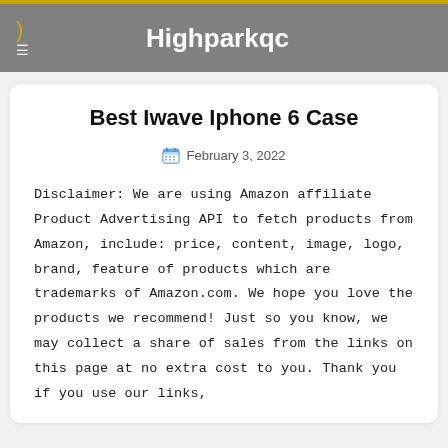Highparkqc
Best Iwave Iphone 6 Case
February 3, 2022
Disclaimer: We are using Amazon affiliate Product Advertising API to fetch products from Amazon, include: price, content, image, logo, brand, feature of products which are trademarks of Amazon.com. We hope you love the products we recommend! Just so you know, we may collect a share of sales from the links on this page at no extra cost to you. Thank you if you use our links,